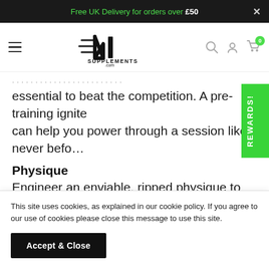Free UK Delivery for orders over £50
[Figure (logo): NI Supplements .com logo with stylized N and I letters and speed lines]
essential to beat the competition. A pre-training ignite can help you power through a session like never befo...
Physique
Engineer an enviable, ripped physique to succeed.
Winning is all about shape and symmetry of muscles. over
This site uses cookies, as explained in our cookie policy. If you agree to our use of cookies please close this message to use this site.